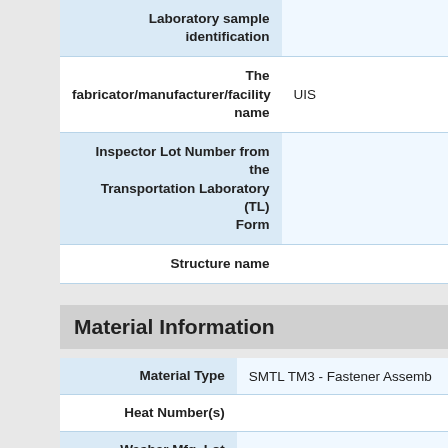| Field | Value |
| --- | --- |
| Laboratory sample identification |  |
| The fabricator/manufacturer/facility name | UIS |
| Inspector Lot Number from the Transportation Laboratory (TL) Form |  |
| Structure name |  |
Material Information
| Field | Value |
| --- | --- |
| Material Type | SMTL TM3 - Fastener Assemb... |
| Heat Number(s) |  |
| Washer Mfg. Lot Number(s) | D6918 |
| Bolt Length(s) | 2.25 |